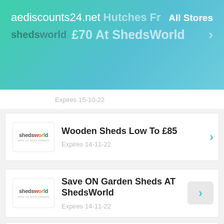aediscounts24.net  Hutches Fr  All Stores
shedsworld  £70 At ShedsWorld  >
Expires 15-10-22
Wooden Sheds Low To £85
Expires 14-11-22
Save ON Garden Sheds AT ShedsWorld
Expires 14-11-22
Free Shipping At